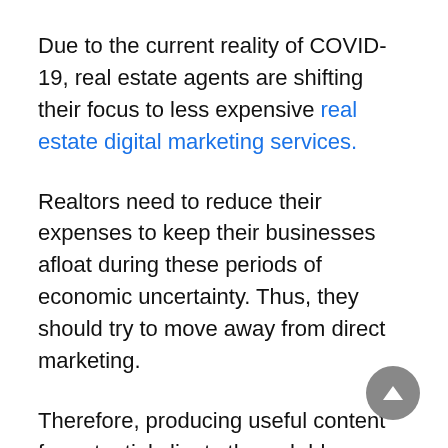Due to the current reality of COVID-19, real estate agents are shifting their focus to less expensive real estate digital marketing services.
Realtors need to reduce their expenses to keep their businesses afloat during these periods of economic uncertainty. Thus, they should try to move away from direct marketing.
Therefore, producing useful content for potential clients through blogs, Zoom webinars, and YouTube videos can be efficient and economic. Moreover, real estate content marketing has been shown to produce approximately three